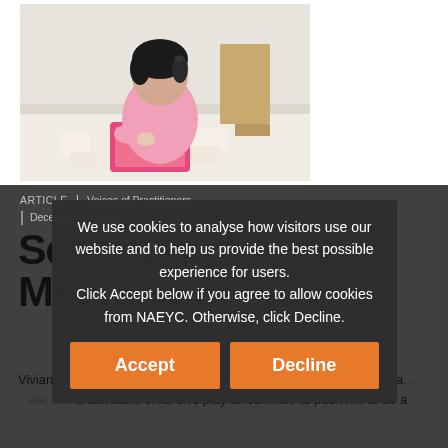[Figure (photo): Young Asian girl in pink shirt leaning over a table with puzzle pieces and a pink tray in a classroom setting]
ARTICLE | Voices of Practitioners
| December 17, 2019
Searching for the Meaning of Play
Vivian's desire to create space for stories, her ability to listen fully a... ...ate and understand children's play all continue to push me to be a
We use cookies to analyse how visitors use our website and to help us provide the best possible experience for users. Click Accept below if you agree to allow cookies from NAEYC. Otherwise, click Decline.